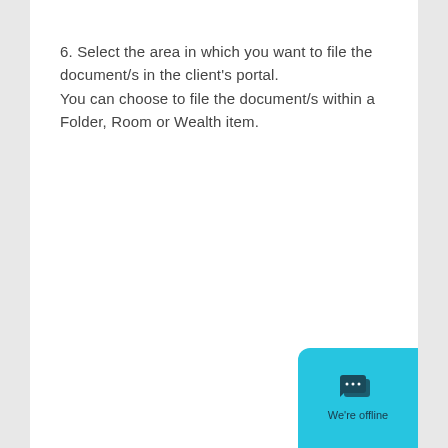6. Select the area in which you want to file the document/s in the client's portal. You can choose to file the document/s within a Folder, Room or Wealth item.
[Figure (screenshot): Chat widget button in cyan/turquoise color showing speech bubble icon with ellipsis and text 'We're offline']